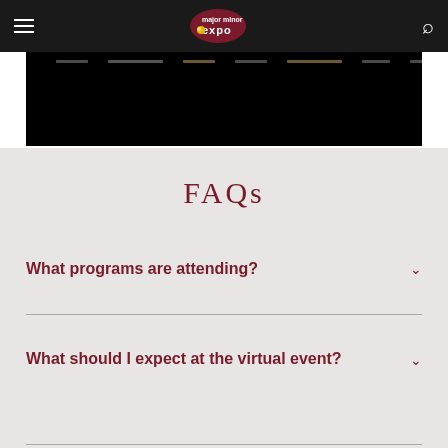major minor expo — navigation header
[Figure (photo): Dark hero image with navigation menu items partially visible at top]
FAQs
What programs are attending?
What should I expect at the virtual event?